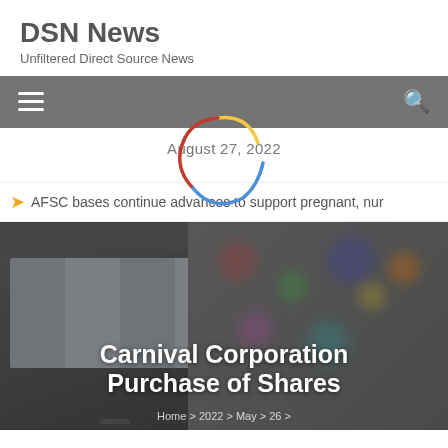DSN News
Unfiltered Direct Source News
[Figure (screenshot): Navigation bar with hamburger menu icon on left and search icon on right, dark gray background]
August 27, 2022
[Figure (illustration): Google spinner/loading circle with yellow, red, blue segments]
AFSC bases continue advances to support pregnant, nur
[Figure (photo): Hero image showing laptop with screen and bokeh lights in background, overlaid with article title text]
Carnival Corporation Purchase of Shares
Home > 2022 > May > 26 >